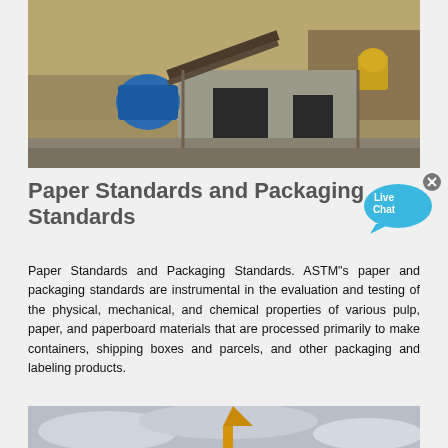[Figure (photo): Industrial mining/crushing facility with blue crusher machine, conveyor belts, and hillside excavation in background]
Paper Standards and Packaging Standards
[Figure (other): Live Chat button bubble in cyan/blue color with x close button]
Paper Standards and Packaging Standards. ASTM"s paper and packaging standards are instrumental in the evaluation and testing of the physical, mechanical, and chemical properties of various pulp, paper, and paperboard materials that are processed primarily to make containers, shipping boxes and parcels, and other packaging and labeling products.
[Figure (photo): Construction crane or equipment against cloudy sky, partially visible at bottom of page]